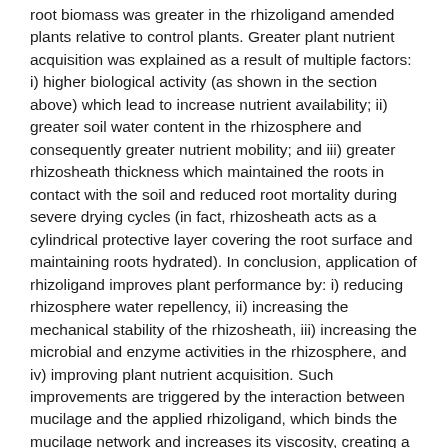root biomass was greater in the rhizoligand amended plants relative to control plants. Greater plant nutrient acquisition was explained as a result of multiple factors: i) higher biological activity (as shown in the section above) which lead to increase nutrient availability; ii) greater soil water content in the rhizosphere and consequently greater nutrient mobility; and iii) greater rhizosheath thickness which maintained the roots in contact with the soil and reduced root mortality during severe drying cycles (in fact, rhizosheath acts as a cylindrical protective layer covering the root surface and maintaining roots hydrated). In conclusion, application of rhizoligand improves plant performance by: i) reducing rhizosphere water repellency, ii) increasing the mechanical stability of the rhizosheath, iii) increasing the microbial and enzyme activities in the rhizosphere, and iv) improving plant nutrient acquisition. Such improvements are triggered by the interaction between mucilage and the applied rhizoligand, which binds the mucilage network and increases its viscosity, creating a new matrix at the root-soil interface. We propose the rhizoligand concept as an effective approach to engineer the rhizosphere properties and to improve plant tolerance to water shortage.
Keywords: Rhizosphere engineering; Rhizosheath